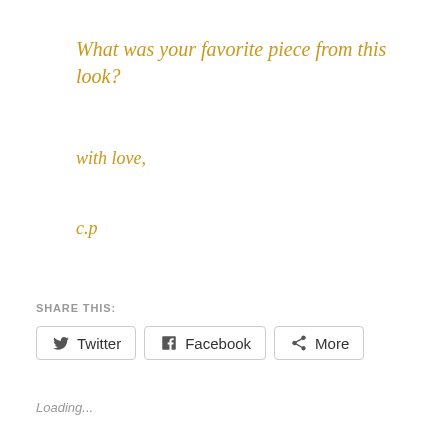What was your favorite piece from this look?
with love,
c.p
SHARE THIS:
Loading...